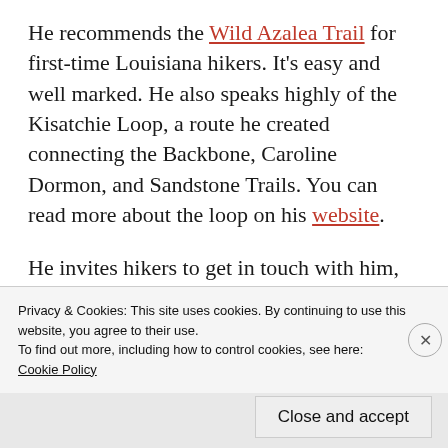He recommends the Wild Azalea Trail for first-time Louisiana hikers. It's easy and well marked. He also speaks highly of the Kisatchie Loop, a route he created connecting the Backbone, Caroline Dormon, and Sandstone Trails. You can read more about the loop on his website.
He invites hikers to get in touch with him, or contact the Louisiana Hiking Club, to, as he puts it on many of his YouTube videos, find
Privacy & Cookies: This site uses cookies. By continuing to use this website, you agree to their use.
To find out more, including how to control cookies, see here:
Cookie Policy
Close and accept